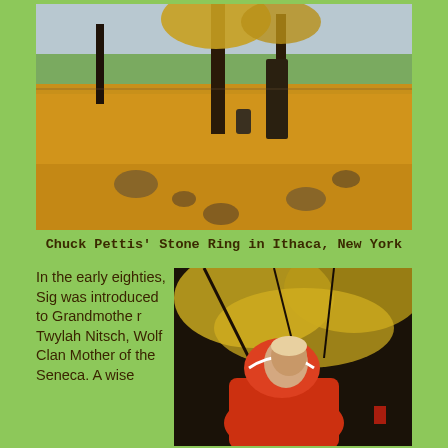[Figure (photo): Outdoor autumn scene showing a stone ring arrangement on a ground covered with golden-yellow fallen leaves, with dark tree trunks and a green pastoral landscape in the background under a cloudy sky.]
Chuck Pettis' Stone Ring in Ithaca, New York
In the early eighties, Sig was introduced to Grandmother Twylah Nitsch, Wolf Clan Mother of the Seneca. A wise
[Figure (photo): A person wearing a red/orange hoodie stands among autumn trees with yellow and golden foliage, looking upward to the right.]